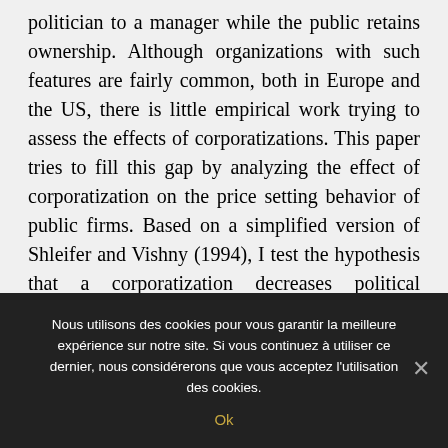politician to a manager while the public retains ownership. Although organizations with such features are fairly common, both in Europe and the US, there is little empirical work trying to assess the effects of corporatizations. This paper tries to fill this gap by analyzing the effect of corporatization on the price setting behavior of public firms. Based on a simplified version of Shleifer and Vishny (1994), I test the hypothesis that a corporatization decreases political interference in price setting. The empirical evidence from a dataset on Austrian water providers largely corroborates this hypothesis. Specifically, the effect of the political business
Nous utilisons des cookies pour vous garantir la meilleure expérience sur notre site. Si vous continuez à utiliser ce dernier, nous considérerons que vous acceptez l'utilisation des cookies.
Ok